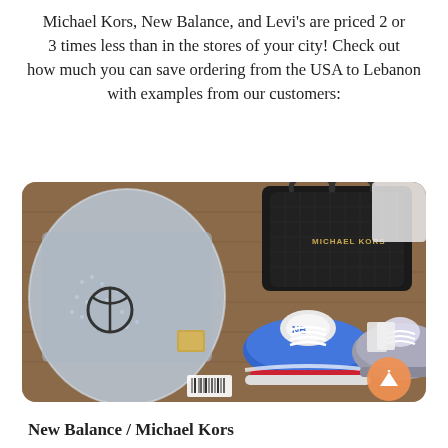Michael Kors, New Balance, and Levi's are priced 2 or 3 times less than in the stores of your city! Check out how much you can save ordering from the USA to Lebanon with examples from our customers:
[Figure (photo): Flat lay photo on a wooden surface showing: a grey shirt in plastic packaging with a circular brand logo on the left; a black Michael Kors handbag in the upper center-right; a pair of blue New Balance sneakers with white laces in the center-right; a pair of grey sneakers on the far right; a gold Michael Kors tag visible; a scroll-to-top button (orange circle with upward arrow) in the bottom right corner.]
New Balance / Michael Kors